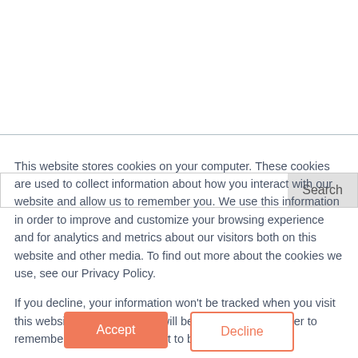[Figure (screenshot): Search input field with a 'Search' button on the right side]
This website stores cookies on your computer. These cookies are used to collect information about how you interact with our website and allow us to remember you. We use this information in order to improve and customize your browsing experience and for analytics and metrics about our visitors both on this website and other media. To find out more about the cookies we use, see our Privacy Policy.

If you decline, your information won't be tracked when you visit this website. A single cookie will be used in your browser to remember your preference not to be tracked.
Accept
Decline